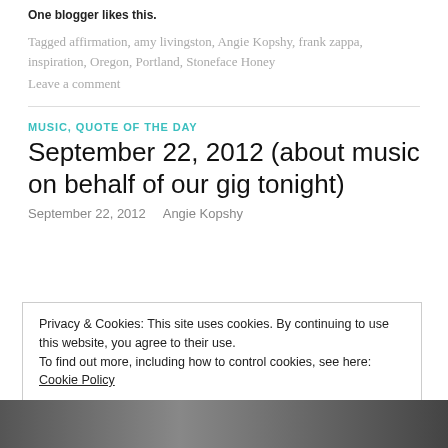One blogger likes this.
Tagged affirmation, amy livingston, Angie Kopshy, frank zappa, inspiration, Oregon, Portland, Stoneface Honey
Leave a comment
MUSIC, QUOTE OF THE DAY
September 22, 2012 (about music on behalf of our gig tonight)
September 22, 2012   Angie Kopshy
Privacy & Cookies: This site uses cookies. By continuing to use this website, you agree to their use. To find out more, including how to control cookies, see here: Cookie Policy
Close and accept
[Figure (photo): Black and white photo strip at the bottom of the page]